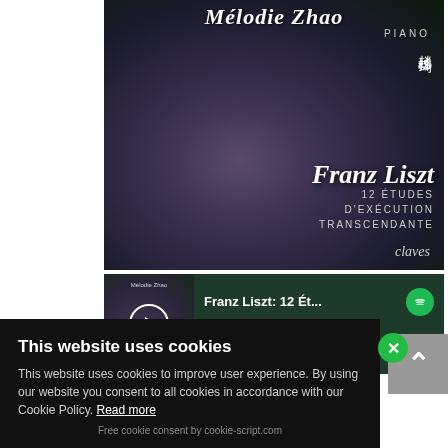[Figure (photo): Album cover for Mélodie Zhao playing Franz Liszt 12 Études d'Exécution Transcendante on Claves label. Shows a young woman with long dark hair against a green foliage background. Text includes artist name, PIANO, Chinese characters, Franz Liszt, 12 ÉTUDES D'EXÉCUTION TRANSCENDANTE, and claves label.]
[Figure (screenshot): Spotify embedded player showing Franz Liszt: 12 Ét... by Franz Liszt, Mélo... with playback controls, progress bar at 0:00, skip forward/back buttons, share button, and Spotify logo.]
This website uses cookies
This website uses cookies to improve user experience. By using our website you consent to all cookies in accordance with our Cookie Policy. Read more
Free cookie consent by cookie-script.com
icks - High-res - ig van beethoven -